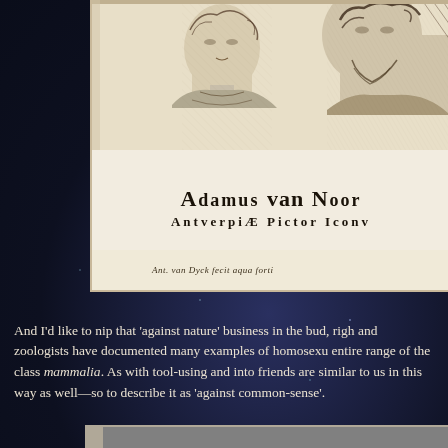[Figure (illustration): Partial view of an engraving showing two figures (portraits/busts) in classical style with cross-hatching. Below the portrait area is an inscription in large serif capitals: 'ADAMVS VAN NOOR' (truncated) and 'ANTVERPIÆ PICTOR ICONV' (truncated). Below that is a small italic signature: 'Ant. van Dyck fecit aqua forti'.]
And I'd like to nip that 'against nature' business in the bud, righ and zoologists have documented many examples of homosexu entire range of the class mammalia. As with tool-using and into friends are similar to us in this way as well—so to describe it as 'against common-sense'.
[Figure (photo): Partial view of a photograph at the bottom of the page, showing a dark gray rectangular image, partially visible.]